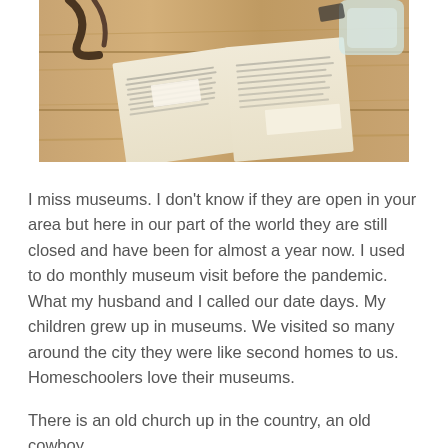[Figure (photo): A photograph of an open old book or document on a wooden table, with other items including what appears to be leather straps, glasses, and a glass jar visible in the background.]
I miss museums. I don't know if they are open in your area but here in our part of the world they are still closed and have been for almost a year now. I used to do monthly museum visit before the pandemic. What my husband and I called our date days. My children grew up in museums. We visited so many around the city they were like second homes to us. Homeschoolers love their museums.
There is an old church up in the country, an old cowboy